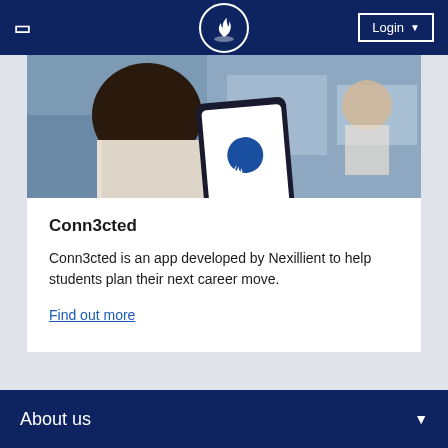Login
[Figure (photo): A student viewed from behind holding a smartphone displaying the Conn3cted app, with other people in the background in an office/classroom setting.]
Conn3cted
Conn3cted is an app developed by Nexillient to help students plan their next career move.
Find out more
About us